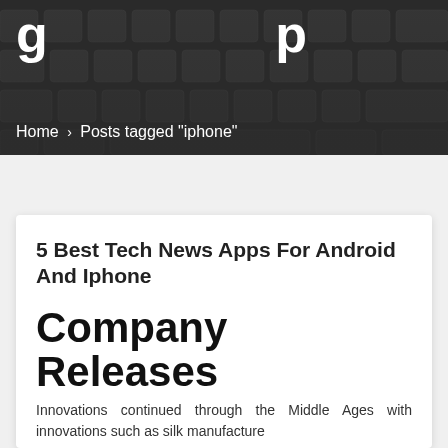[Figure (photo): Dark keyboard background banner with backlit keys visible]
Home > Posts tagged "iphone"
5 Best Tech News Apps For Android And Iphone
Company Releases
Innovations continued through the Middle Ages with innovations such as silk manufacture